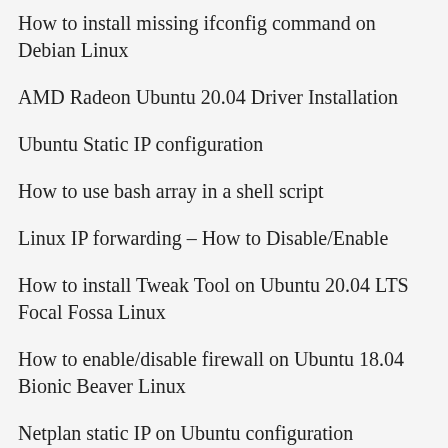How to install missing ifconfig command on Debian Linux
AMD Radeon Ubuntu 20.04 Driver Installation
Ubuntu Static IP configuration
How to use bash array in a shell script
Linux IP forwarding – How to Disable/Enable
How to install Tweak Tool on Ubuntu 20.04 LTS Focal Fossa Linux
How to enable/disable firewall on Ubuntu 18.04 Bionic Beaver Linux
Netplan static IP on Ubuntu configuration
How to change from default to alternative Python version on Debian Linux
Set Kali root password and enable root login
How to Install Adobe Acrobat Reader on Ubuntu